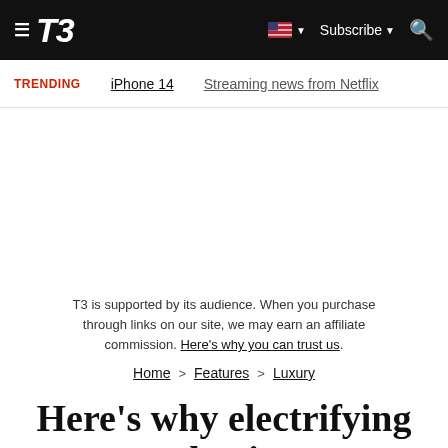T3 | Subscribe | Search
TRENDING   iPhone 14   Streaming news from Netflix
T3 is supported by its audience. When you purchase through links on our site, we may earn an affiliate commission. Here's why you can trust us.
Home > Features > Luxury
Here's why electrifying classic